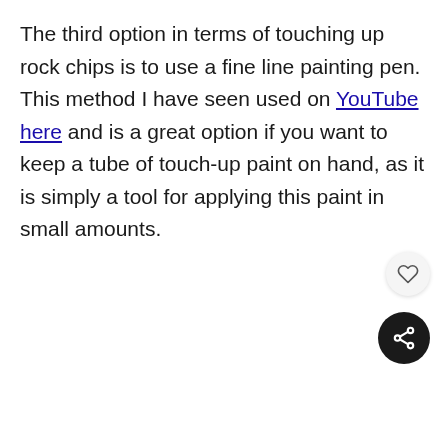The third option in terms of touching up rock chips is to use a fine line painting pen. This method I have seen used on YouTube here and is a great option if you want to keep a tube of touch-up paint on hand, as it is simply a tool for applying this paint in small amounts.